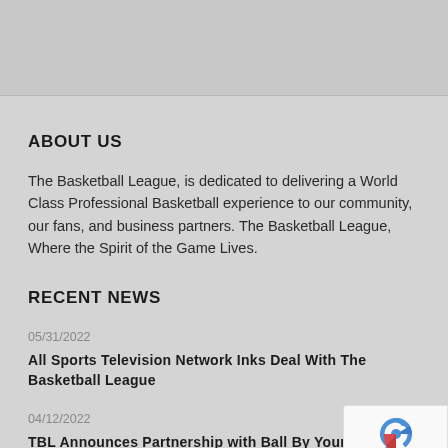[Figure (other): Gray header bar area at top of page]
ABOUT US
The Basketball League, is dedicated to delivering a World Class Professional Basketball experience to our community, our fans, and business partners. The Basketball League, Where the Spirit of the Game Lives.
RECENT NEWS
05/31/2022
All Sports Television Network Inks Deal With The Basketball League
04/12/2022
TBL Announces Partnership with Ball By Yourself to be the